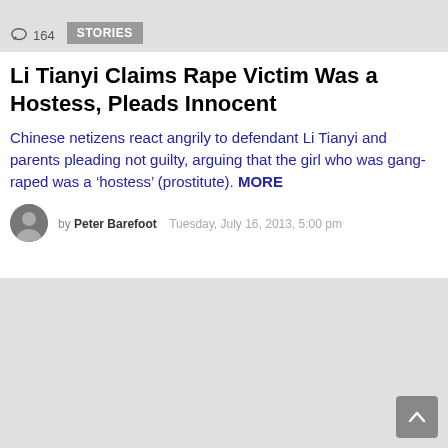164  STORIES
Li Tianyi Claims Rape Victim Was a Hostess, Pleads Innocent
Chinese netizens react angrily to defendant Li Tianyi and parents pleading not guilty, arguing that the girl who was gang-raped was a ‘hostess’ (prostitute). MORE
by Peter Barefoot  Tuesday, July 16, 2013, 5:00 pm
[Figure (other): Gray advertisement placeholder block at the bottom of the page with a scroll-to-top button in the lower right corner]